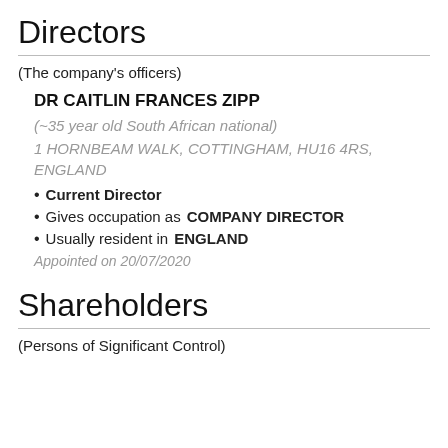Directors
(The company's officers)
DR CAITLIN FRANCES ZIPP
(~35 year old South African national)
1 HORNBEAM WALK, COTTINGHAM, HU16 4RS, ENGLAND
Current Director
Gives occupation as COMPANY DIRECTOR
Usually resident in ENGLAND
Appointed on 20/07/2020
Shareholders
(Persons of Significant Control)